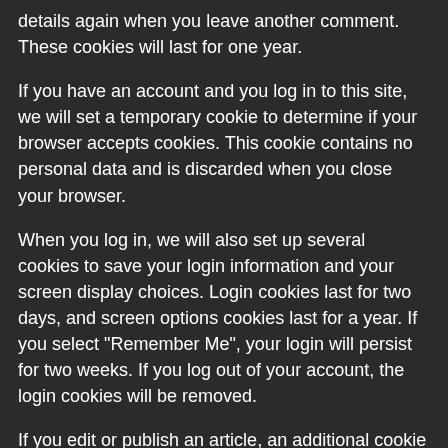details again when you leave another comment. These cookies will last for one year.
If you have an account and you log in to this site, we will set a temporary cookie to determine if your browser accepts cookies. This cookie contains no personal data and is discarded when you close your browser.
When you log in, we will also set up several cookies to save your login information and your screen display choices. Login cookies last for two days, and screen options cookies last for a year. If you select "Remember Me", your login will persist for two weeks. If you log out of your account, the login cookies will be removed.
If you edit or publish an article, an additional cookie will be saved in your browser. This cookie includes no personal data and simply indicates the post ID of the article you just edited. It expires after 1 day.